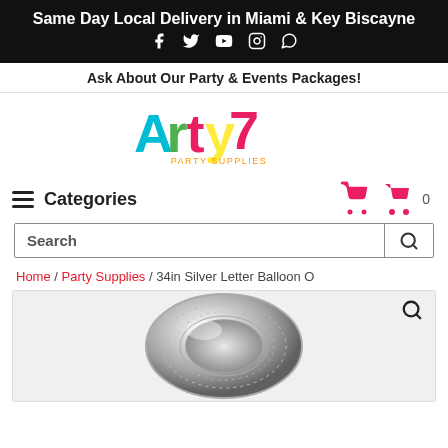Same Day Local Delivery in Miami & Key Biscayne
Ask About Our Party & Events Packages!
[Figure (logo): Arty7 Party Supplies logo with colorful script text]
Categories
Search
Home / Party Supplies / 34in Silver Letter Balloon O
[Figure (photo): Silver letter O balloon, 34 inch, metallic foil, shown inflated]